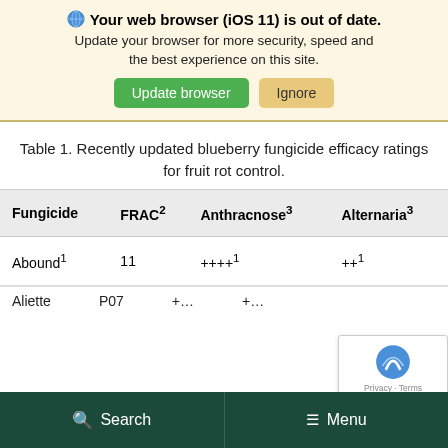Your web browser (iOS 11) is out of date. Update your browser for more security, speed and the best experience on this site.
Table 1. Recently updated blueberry fungicide efficacy ratings for fruit rot control.
| Fungicide | FRAC² | Anthracnose³ | Alternaria³ |
| --- | --- | --- | --- |
| Abound¹ | 11 | ++++¹ | ++…¹ |
| Aliette | P07 | +… | +… |
Search   Menu